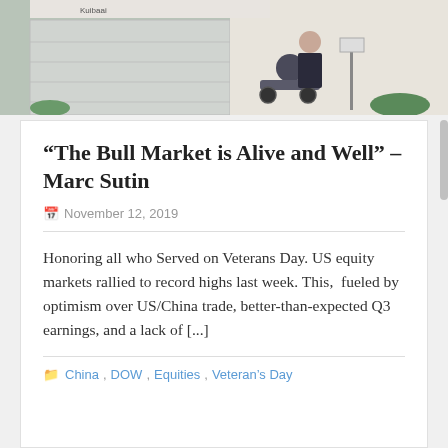[Figure (photo): Photo showing a person in a wheelchair and another person standing behind them, in front of a house with a garage door, with banners visible in the background.]
“The Bull Market is Alive and Well” – Marc Sutin
November 12, 2019
Honoring all who Served on Veterans Day. US equity markets rallied to record highs last week. This,  fueled by optimism over US/China trade, better-than-expected Q3 earnings, and a lack of [...]
China, DOW, Equities, Veteran’s Day